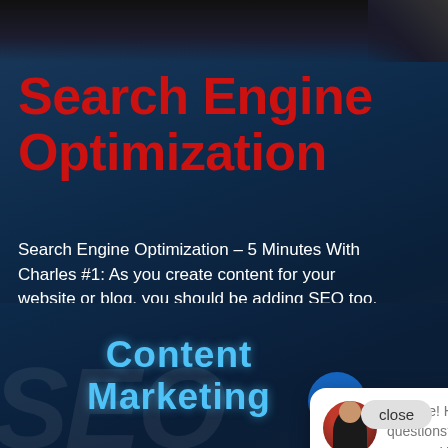Search Engine Optimization
Search Engine Optimization – 5 Minutes With Charles #1: As you create content for your website or blog, you should be adding SEO too. Here's how to do it right.
3 April 2017
[Figure (screenshot): Chat popup bubble with avatar photo of a woman, text reading 'Hi there! Have questions? We have answers! Text us here.' and a close button]
[Figure (screenshot): Bottom banner section showing 'Content Marketing' text in blue on dark background with SEO watermark, chat circle icon, and TrustSite Certified Secure badge]